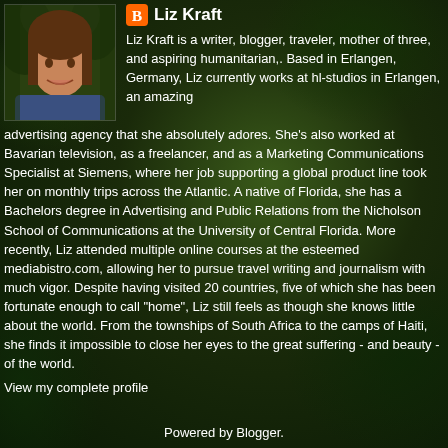Liz Kraft
Liz Kraft is a writer, blogger, traveler, mother of three, and aspiring humanitarian,. Based in Erlangen, Germany, Liz currently works at hl-studios in Erlangen, an amazing advertising agency that she absolutely adores. She's also worked at Bavarian television, as a freelancer, and as a Marketing Communications Specialist at Siemens, where her job supporting a global product line took her on monthly trips across the Atlantic. A native of Florida, she has a Bachelors degree in Advertising and Public Relations from the Nicholson School of Communications at the University of Central Florida. More recently, Liz attended multiple online courses at the esteemed mediabistro.com, allowing her to pursue travel writing and journalism with much vigor. Despite having visited 20 countries, five of which she has been fortunate enough to call "home", Liz still feels as though she knows little about the world. From the townships of South Africa to the camps of Haiti, she finds it impossible to close her eyes to the great suffering - and beauty - of the world.
View my complete profile
Powered by Blogger.